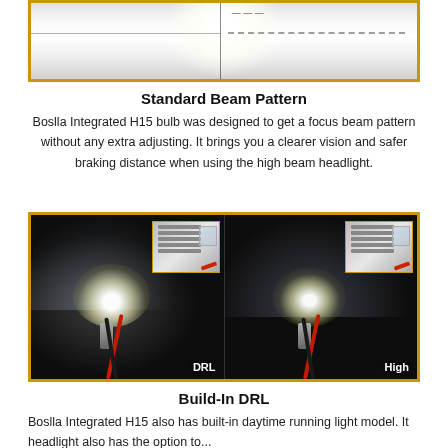[Figure (photo): Beam pattern test photo showing a wide horizontal light beam on a wall, with a vertical center line and a dashed horizontal reference line on the right half. Gold border around image.]
Standard Beam Pattern
Boslla Integrated H15 bulb was designed to get a focus beam pattern without any extra adjusting. It brings you a clearer vision and safer braking distance when using the high beam headlight.
[Figure (photo): Two side-by-side photos of an H15 LED bulb glowing, left labeled 'DRL' and right labeled 'High', each with a small inset thumbnail of the bulb component. Gold border around the combined image.]
Build-In DRL
Boslla Integrated H15 also has built-in daytime running light model. It headlight also has the option to...